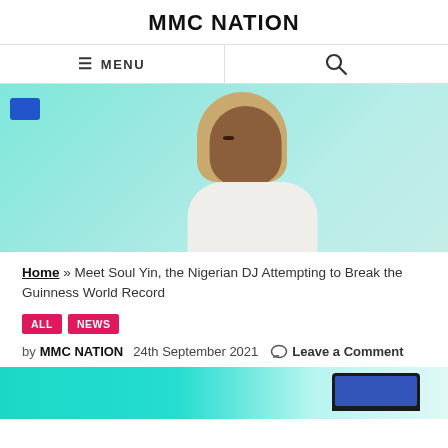MMC NATION
[Figure (screenshot): Navigation bar with MENU text and hamburger icon on left, search icon on right]
[Figure (photo): Photo of a young Nigerian woman with long braids, wearing a white top, against a teal/cyan background]
Home » Meet Soul Yin, the Nigerian DJ Attempting to Break the Guinness World Record
ALL  NEWS
by MMC NATION   24th September 2021   Leave a Comment
[Figure (photo): Partial bottom image showing teal background with a laptop]